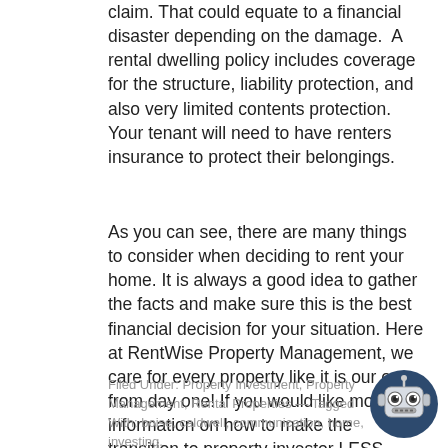claim. That could equate to a financial disaster depending on the damage. A rental dwelling policy includes coverage for the structure, liability protection, and also very limited contents protection. Your tenant will need to have renters insurance to protect their belongings.
As you can see, there are many things to consider when deciding to rent your home. It is always a good idea to gather the facts and make sure this is the best financial decision for your situation. Here at RentWise Property Management, we care for every property like it is our own from day one! If you would like more information on how to make the transition to property investor LESS HASSLE, MORE HAPPY, visit us at www.rentwisepm.com
Filed Under: Property Investment, Property Management, Rental Properties — Tagged With: boise, caldwell, communication, home, investing,